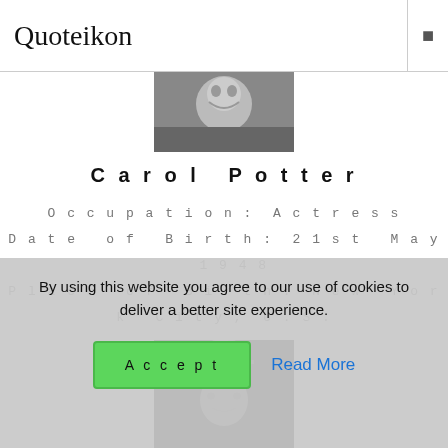Quoteikon
[Figure (photo): Black and white photo of Carol Potter, smiling woman]
Carol Potter
Occupation: Actress
Date of Birth: 21st May 1948
Place of Birth: New York City, U.S.
[Figure (photo): Black and white photo of person wearing an ornate crown - Charlemagne]
Charlemagne
Occupation: Emperor and King
By using this website you agree to our use of cookies to deliver a better site experience.
Accept  Read More